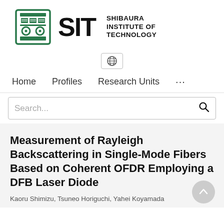[Figure (logo): Shibaura Institute of Technology logo with green emblem, large 'SIT' text, and 'SHIBAURA INSTITUTE OF TECHNOLOGY' wordmark]
[Figure (other): Globe/language selector icon button]
Home   Profiles   Research Units   ...
Search...
Measurement of Rayleigh Backscattering in Single-Mode Fibers Based on Coherent OFDR Employing a DFB Laser Diode
Kaoru Shimizu, Tsuneo Horiguchi, Yahei Koyamada